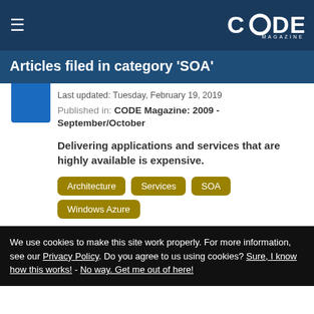CODE Magazine
Articles filed in category 'SOA'
Last updated: Tuesday, February 19, 2019
Published in: CODE Magazine: 2009 - September/October
Delivering applications and services that are highly available is expensive.
Architecture
Services
SOA
Windows Azure
We use cookies to make this site work properly. For more information, see our Privacy Policy. Do you agree to us using cookies? Sure, I know how this works! - No way. Get me out of here!